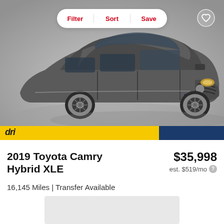[Figure (photo): Photo of a gray 2019 Toyota Camry Hybrid XLE sedan in a studio setting, shown from front-left angle]
Filter | Sort | Save
2019 Toyota Camry Hybrid XLE
$35,998
est. $519/mo
16,145 Miles | Transfer Available